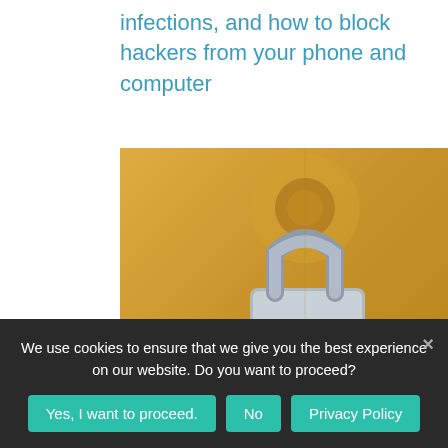infections, and how to block hackers from your phone and computer
[Figure (photo): Close-up photo of a padlock on an ornate golden door with a keyhole]
What a virtual private network is and how to get a VPN
[Figure (line-chart): Line chart with multiple colored lines (yellow, red, cyan) showing fluctuating trends on a graph paper background]
We use cookies to ensure that we give you the best experience on our website. Do you want to proceed?